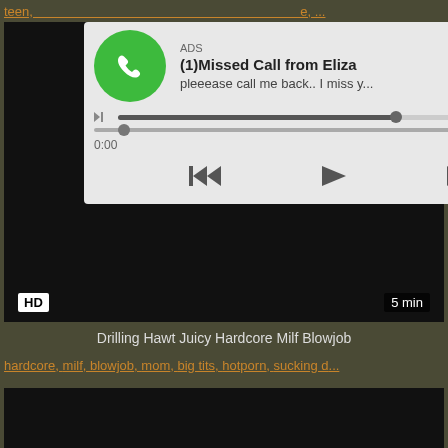teen, ... e, ...
[Figure (screenshot): Audio ad overlay on video player: green phone icon, ADS label, title '(1)Missed Call from Eliza', subtitle 'pleeease call me back.. I miss y...', progress bar, time 0:00 / 3:23, rewind/play/fast-forward controls. Black video frame with HD badge and 5 min duration label.]
Drilling Hawt Juicy Hardcore Milf Blowjob
hardcore, milf, blowjob, mom, big tits, hotporn, sucking d...
[Figure (screenshot): Black video thumbnail frame]